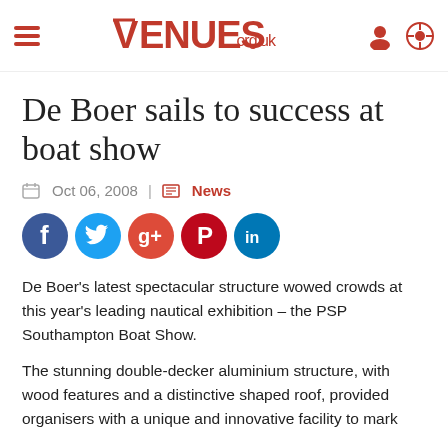VENUES.org.uk
De Boer sails to success at boat show
Oct 06, 2008 | News
[Figure (infographic): Social media sharing icons: Facebook, Twitter, Google+, Pinterest, LinkedIn]
De Boer’s latest spectacular structure wowed crowds at this year’s leading nautical exhibition – the PSP Southampton Boat Show.
The stunning double-decker aluminium structure, with wood features and a distinctive shaped roof, provided organisers with a unique and innovative facility to mark